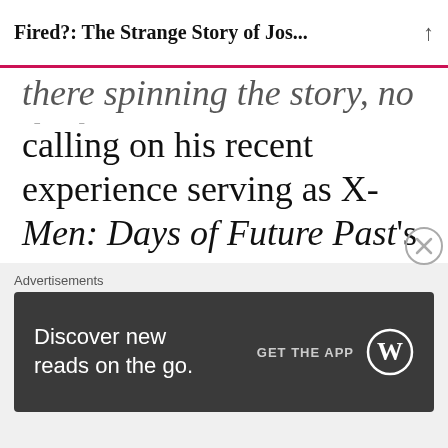Fired?: The Strange Story of Jos...
there spinning the story, no doubt calling on his recent experience serving as X-Men: Days of Future Past’s spokesman while director Bryan Singer receded from the spotlight due to his sex abuse scandal. Just a couple of days ago, Kinberg told HitFix they had held back footage from the movie for so
Advertisements
[Figure (other): Advertisement banner for WordPress app: 'Discover new reads on the go. GET THE APP' with WordPress logo]